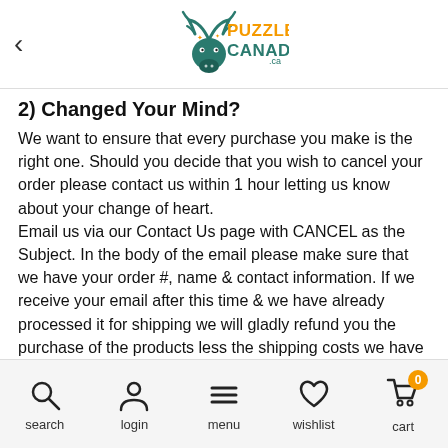Puzzles Canada
2) Changed Your Mind?
We want to ensure that every purchase you make is the right one. Should you decide that you wish to cancel your order please contact us within 1 hour letting us know about your change of heart.
Email us via our Contact Us page with CANCEL as the Subject. In the body of the email please make sure that we have your order #, name & contact information. If we receive your email after this time & we have already processed it for shipping we will gladly refund you the purchase of the products less the shipping costs we have incurred.
3) Shipping Rates - in order to keep giving you the lowest
search | login | menu | wishlist | cart